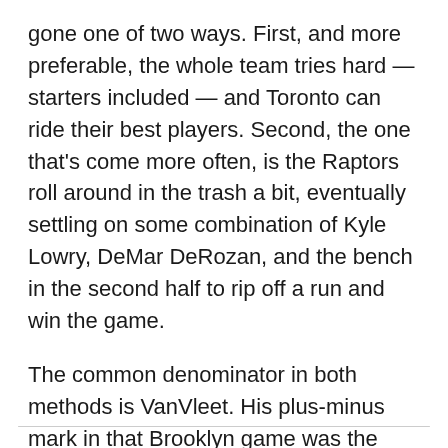gone one of two ways. First, and more preferable, the whole team tries hard — starters included — and Toronto can ride their best players. Second, the one that's come more often, is the Raptors roll around in the trash a bit, eventually settling on some combination of Kyle Lowry, DeMar DeRozan, and the bench in the second half to rip off a run and win the game.
The common denominator in both methods is VanVleet. His plus-minus mark in that Brooklyn game was the ultimate example of his Swiss army knife role on this team. Dwane Casey has started to trust him in all three wing positions, and as he keeps making good decisions driving and shooting (along with being a solid defender), that will continue.